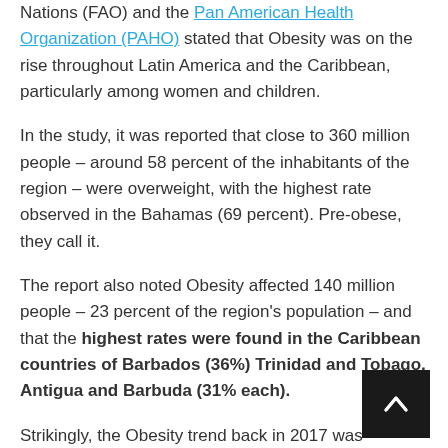Nations (FAO) and the Pan American Health Organization (PAHO) stated that Obesity was on the rise throughout Latin America and the Caribbean, particularly among women and children.
In the study, it was reported that close to 360 million people – around 58 percent of the inhabitants of the region – were overweight, with the highest rate observed in the Bahamas (69 percent). Pre-obese, they call it.
The report also noted Obesity affected 140 million people – 23 percent of the region's population – and that the highest rates were found in the Caribbean countries of Barbados (36%) Trinidad and Tobago, Antigua and Barbuda (31% each).
Strikingly, the Obesity trend back in 2017 was disproportionately impacting women. In more than 20 countries in Latin America and the Caribbean, the rate of female obesity was 10 percentage points higher than that of